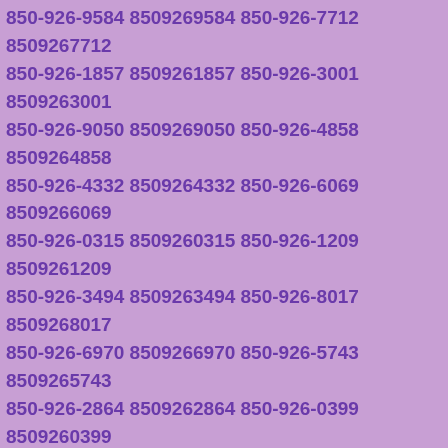850-926-9584 8509269584 850-926-7712 8509267712 850-926-1857 8509261857 850-926-3001 8509263001 850-926-9050 8509269050 850-926-4858 8509264858 850-926-4332 8509264332 850-926-6069 8509266069 850-926-0315 8509260315 850-926-1209 8509261209 850-926-3494 8509263494 850-926-8017 8509268017 850-926-6970 8509266970 850-926-5743 8509265743 850-926-2864 8509262864 850-926-0399 8509260399 850-926-5816 8509265816 850-926-8984 8509268984 850-926-5653 8509265653 850-926-1167 8509261167 850-926-0648 8509260648 850-926-6034 8509266034 850-926-6664 8509266664 850-926-9735 8509269735 850-926-8573 8509268573 850-926-5233 8509265233 850-926-1221 8509261221 850-926-4213 8509264213 850-926-1556 8509261556 850-926-4446 8509264446 850-926-0071 8509260071 850-926-2890 8509262890 850-926-9700 8509269700 850-926-8401 8509268401 850-926-9249 8509269249 850-926-2892 8509262892 850-926-1118 8509261118 850-926-8985 8509268985 850-926-3857 8509263857 850-926-2687 8509262687 850-926-2907 8509262907 850-926-8074 8509268074